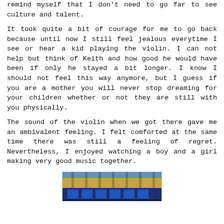remind myself that I don't need to go far to see culture and talent.
It took quite a bit of courage for me to go back because until now I still feel jealous everytime I see or hear a kid playing the violin. I can not help but think of Keith and how good he would have been if only he stayed a bit longer. I know I should not feel this way anymore, but I guess if you are a mother you will never stop dreaming for your children whether or not they are still with you physically.
The sound of the violin when we got there gave me an ambivalent feeling. I felt comforted at the same time there was still a feeling of regret. Nevertheless, I enjoyed watching a boy and a girl making very good music together.
[Figure (photo): Partial view of a building facade with blue and gold architectural elements, possibly columns or windows, photographed from outside.]